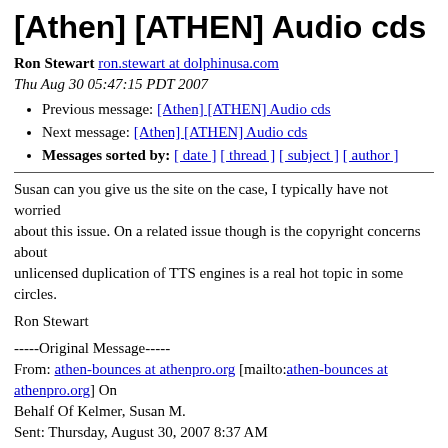[Athen] [ATHEN] Audio cds
Ron Stewart ron.stewart at dolphinusa.com
Thu Aug 30 05:47:15 PDT 2007
Previous message: [Athen] [ATHEN] Audio cds
Next message: [Athen] [ATHEN] Audio cds
Messages sorted by: [ date ] [ thread ] [ subject ] [ author ]
Susan can you give us the site on the case, I typically have not worried
about this issue. On a related issue though is the copyright concerns about
unlicensed duplication of TTS engines is a real hot topic in some circles.
Ron Stewart
-----Original Message-----
From: athen-bounces at athenpro.org [mailto:athen-bounces at athenpro.org] On
Behalf Of Kelmer, Susan M.
Sent: Thursday, August 30, 2007 8:37 AM